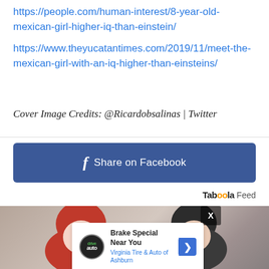https://people.com/human-interest/8-year-old-mexican-girl-higher-iq-than-einstein/
https://www.theyucatantimes.com/2019/11/meet-the-mexican-girl-with-an-iq-higher-than-einsteins/
Cover Image Credits: @Ricardobsalinas | Twitter
[Figure (screenshot): Blue Facebook 'Share on Facebook' button with white Facebook 'f' icon and text]
[Figure (screenshot): Taboola Feed label in the top right, followed by a photo of two women (one with red hair, one with dark hair) and an overlaid advertisement card for 'Brake Special Near You - Virginia Tire & Auto of Ashburn' with a drive auto logo and navigation arrow icon. An X close button is in the top right of the photo area. Ad controls (play/close icons) are visible at bottom left of the overlay.]